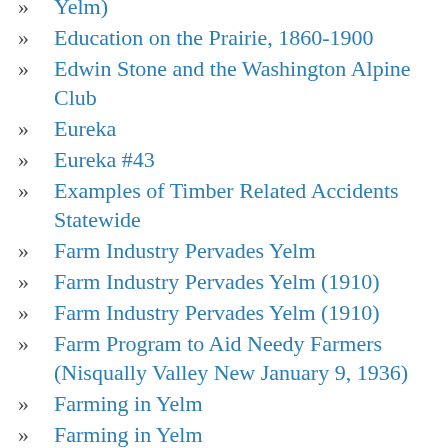Yelm)
Education on the Prairie, 1860-1900
Edwin Stone and the Washington Alpine Club
Eureka
Eureka #43
Examples of Timber Related Accidents Statewide
Farm Industry Pervades Yelm
Farm Industry Pervades Yelm (1910)
Farm Industry Pervades Yelm (1910)
Farm Program to Aid Needy Farmers (Nisqually Valley New January 9, 1936)
Farming in Yelm
Farming in Yelm
Field Engineer's Report - Valuation Section Washington #5 Northern